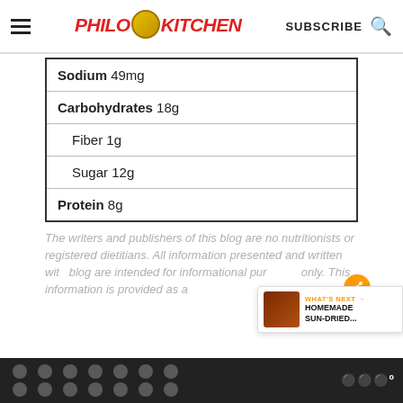Philos Kitchen — SUBSCRIBE
| Sodium | 49mg |
| Carbohydrates | 18g |
| Fiber | 1g |
| Sugar | 12g |
| Protein | 8g |
The writers and publishers of this blog are no nutritionists or registered dietitians. All information presented and written with blog are intended for informational purposes only. This information is provided as a